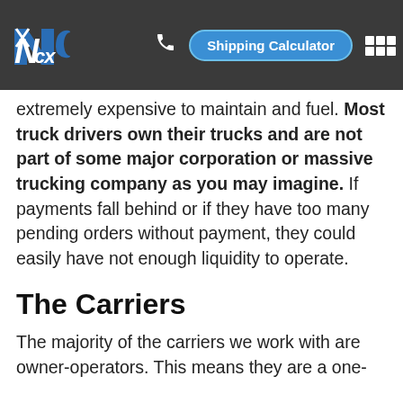NCX logo, phone icon, Shipping Calculator button, menu grid
The second reason is that carriers are on the road constantly and extremely expensive to maintain and fuel. Most truck drivers own their trucks and are not part of some major corporation or massive trucking company as you may imagine. If payments fall behind or if they have too many pending orders without payment, they could easily have not enough liquidity to operate.
The Carriers
The majority of the carriers we work with are owner-operators. This means they are a one-